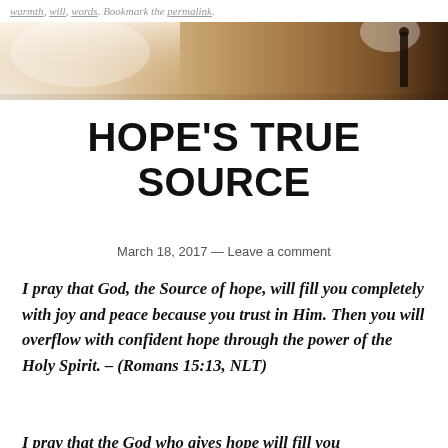warmth, will, words. Bookmark the permalink.
[Figure (photo): Wide horizontal banner photograph with warm golden/brown tones showing a figure against a bright light background]
HOPE'S TRUE SOURCE
March 18, 2017 — Leave a comment
I pray that God, the Source of hope, will fill you completely with joy and peace because you trust in Him. Then you will overflow with confident hope through the power of the Holy Spirit. – (Romans 15:13, NLT)
I pray that the God who gives hope will fill you